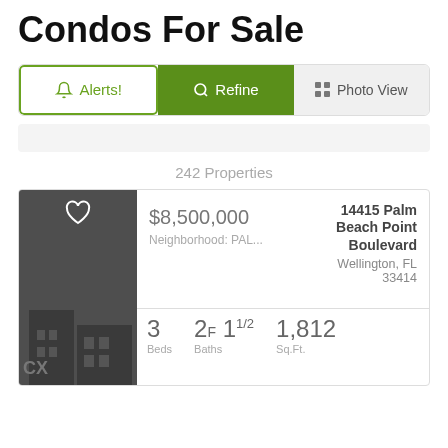Condos For Sale
[Figure (screenshot): Filter buttons row: Alerts!, Refine, Photo View]
[Figure (screenshot): Empty filter/sort bar]
242 Properties
[Figure (photo): Property listing thumbnail - dark gray with house graphic and heart icon]
$8,500,000
Neighborhood: PAL...
14415 Palm Beach Point Boulevard
Wellington, FL
33414
3 Beds  2F 11/2 Baths  1,812 Sq.Ft.